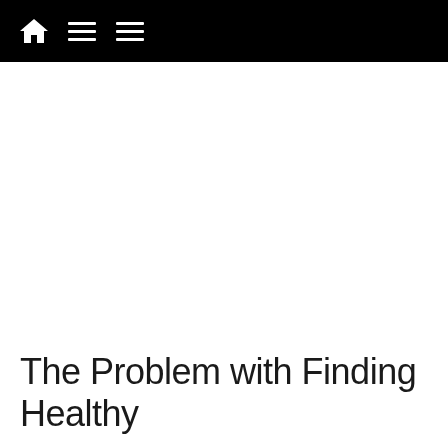Home | Menu | Menu
The Problem with Finding Healthy